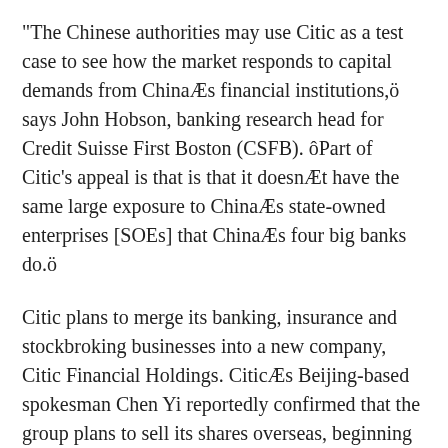"The Chinese authorities may use Citic as a test case to see how the market responds to capital demands from ChinaÆs financial institutions,ö says John Hobson, banking research head for Credit Suisse First Boston (CSFB). ôPart of Citic's appeal is that is that it doesnÆt have the same large exposure to ChinaÆs state-owned enterprises [SOEs] that ChinaÆs four big banks do.ö
Citic plans to merge its banking, insurance and stockbroking businesses into a new company, Citic Financial Holdings. CiticÆs Beijing-based spokesman Chen Yi reportedly confirmed that the group plans to sell its shares overseas, beginning in Hong Kong, according to Bloomberg news agency.